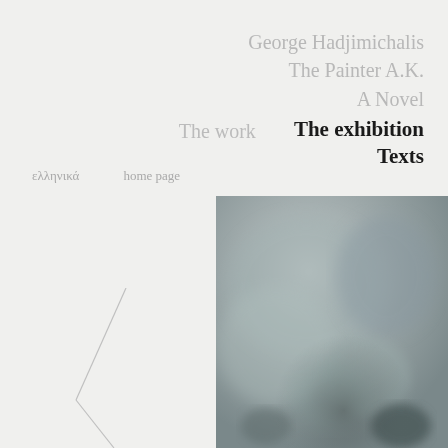George Hadjimichalis
The Painter A.K.
A Novel
The work
The exhibition
Texts
ελληνικά    home page
[Figure (illustration): Abstract painting in grey and dark tones, showing indistinct shadowy forms on a textured grey background]
[Figure (illustration): Thin line drawing of an angular geometric shape resembling a folded or bent form, rendered in light grey lines on a light background]